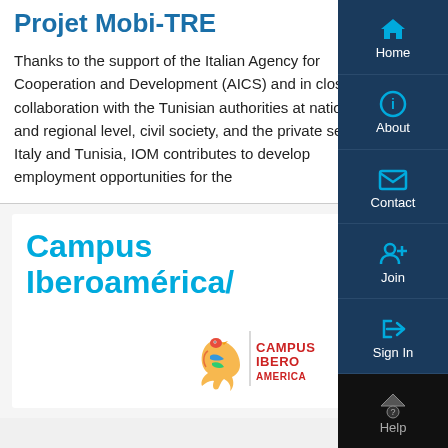Projet Mobi-TRE
Thanks to the support of the Italian Agency for Cooperation and Development (AICS) and in close collaboration with the Tunisian authorities at national and regional level, civil society, and the private sector in Italy and Tunisia, IOM contributes to develop employment opportunities for the
Campus Iberoamérica/
[Figure (logo): Campus Iberoamerica logo with colorful bird/map icon and CAMPUSIBERO AMERICA text]
[Figure (infographic): Mobile navigation sidebar with icons: Home (house icon), About (info circle icon), Contact (envelope icon), Join (person+ icon), Sign In (arrow-right icon), Help (question mark circle icon)]